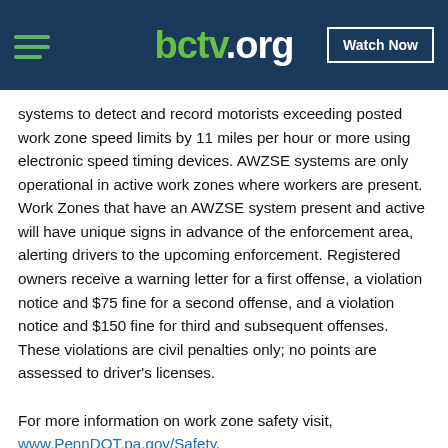bctv.org | Watch Now
systems to detect and record motorists exceeding posted work zone speed limits by 11 miles per hour or more using electronic speed timing devices. AWZSE systems are only operational in active work zones where workers are present. Work Zones that have an AWZSE system present and active will have unique signs in advance of the enforcement area, alerting drivers to the upcoming enforcement. Registered owners receive a warning letter for a first offense, a violation notice and $75 fine for a second offense, and a violation notice and $150 fine for third and subsequent offenses. These violations are civil penalties only; no points are assessed to driver's licenses.
For more information on work zone safety visit, www.PennDOT.pa.gov/Safety.
For more information on the Automated Work Zone Speed Enforcement program, including a li... English ...s